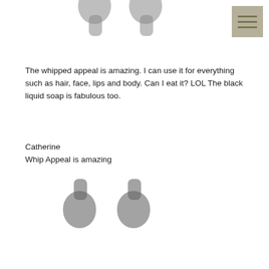[Figure (illustration): Large decorative opening quotation marks, partially cropped at top of page, gray/dark blurred style]
[Figure (illustration): Menu icon button with three horizontal lines on gray-tan background, top right corner]
The whipped appeal is amazing. I can use it for everything such as hair, face, lips and body. Can I eat it? LOL The black liquid soap is fabulous too.
Catherine
Whip Appeal is amazing
[Figure (illustration): Large decorative closing quotation marks, partially cropped at bottom of page, gray/dark blurred style]